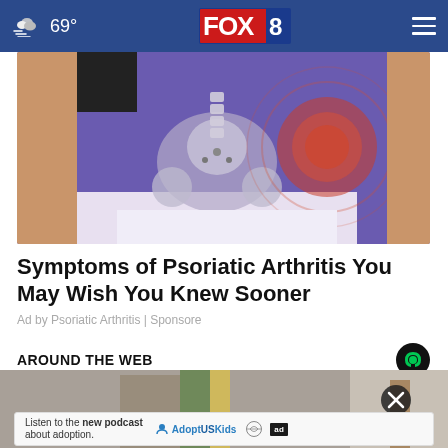69° FOX 8
[Figure (photo): Medical illustration of psoriatic arthritis affecting the hip/pelvis area, overlaid on a person wearing purple pants, with red inflammation indicators]
Symptoms of Psoriatic Arthritis You May Wish You Knew Sooner
Ad by Psoriatic Arthritis | Sponsore
AROUND THE WEB
[Figure (photo): Partial view of a web article image below the Around the Web section, with a person visible in background and an X close button overlay]
Listen to the new podcast about adoption.